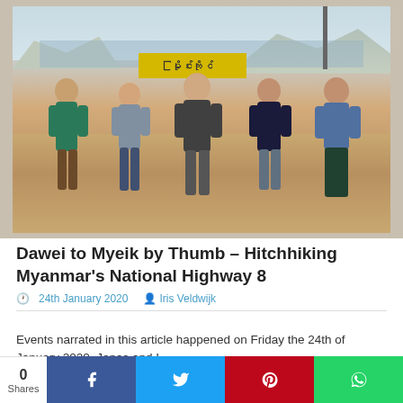[Figure (photo): Five people standing together outdoors near a sign, with a river and mountains in the background. Sandy ground in foreground.]
Dawei to Myeik by Thumb – Hitchhiking Myanmar's National Highway 8
24th January 2020  Iris Veldwijk
Events narrated in this article happened on Friday the 24th of January 2020. Jonas and I
0 Shares